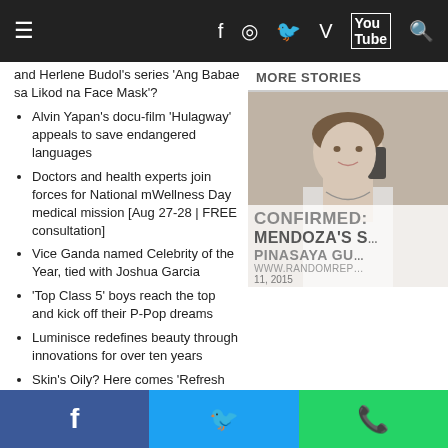Navigation bar with menu, facebook, instagram, twitter, vimeo, youtube, search icons
and Herlene Budol's series 'Ang Babae sa Likod na Face Mask'?
Alvin Yapan's docu-film 'Hulagway' appeals to save endangered languages
Doctors and health experts join forces for National mWellness Day medical mission [Aug 27-28 | FREE consultation]
Vice Ganda named Celebrity of the Year, tied with Joshua Garcia
'Top Class 5' boys reach the top and kick off their P-Pop dreams
Luminisce redefines beauty through innovations for over ten years
Skin's Oily? Here comes 'Refresh Microthreapy'
LOOK: Vice Ganda and Ate Gay's friendship is A-OK!
P-Pop group 'Calista' impresses Korean choreographers during training for new single
[Figure (photo): Woman on phone, with overlay text: MORE STORIES, CONFIRMED: MENDOZA'S S, PINASAYA GU, www.randomrep, 11, 2015]
Social share bar: Facebook, Twitter, WhatsApp